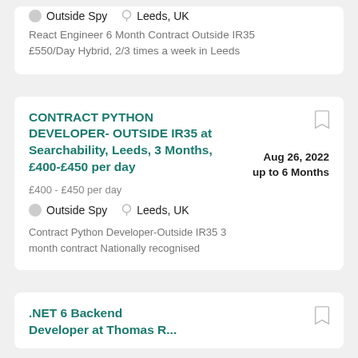React Engineer 6 Month Contract Outside IR35 £550/Day Hybrid, 2/3 times a week in Leeds
Outside Spy   Leeds, UK
CONTRACT PYTHON DEVELOPER- OUTSIDE IR35 at Searchability, Leeds, 3 Months, £400-£450 per day
Aug 26, 2022  up to 6 Months
£400 - £450 per day
Outside Spy   Leeds, UK
Contract Python Developer-Outside IR35 3 month contract Nationally recognised
.NET 6 Backend Developer at Thomas R...